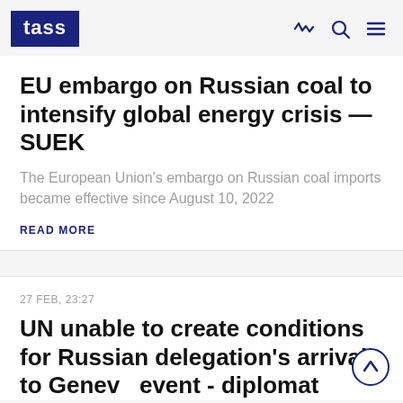TASS
EU embargo on Russian coal to intensify global energy crisis — SUEK
The European Union's embargo on Russian coal imports became effective since August 10, 2022
READ MORE
27 FEB, 23:27
UN unable to create conditions for Russian delegation's arrival to Geneva event - diplomat